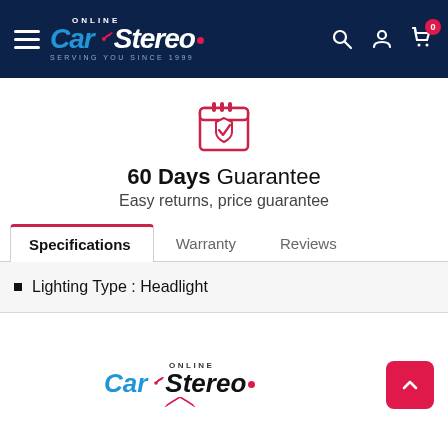Online Car Stereo — SERVING YOU SINCE 1999
[Figure (illustration): Calendar icon with shield and checkmark, pink/red outline style]
60 Days Guarantee
Easy returns, price guarantee
Specifications | Warranty | Reviews (tabs)
Lighting Type : Headlight
[Figure (logo): Online Car Stereo logo at footer]
Back to top button